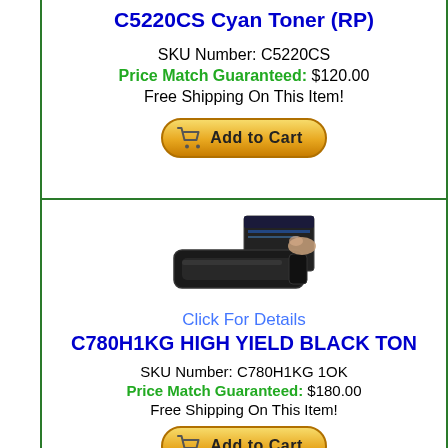C5220CS Cyan Toner (RP)
SKU Number: C5220CS
Price Match Guaranteed: $120.00
Free Shipping On This Item!
[Figure (screenshot): Add to Cart button (gold rounded rectangle with shopping cart icon)]
Click For Details
C780H1KG HIGH YIELD BLACK TONER
[Figure (photo): Photo of C780H1KG high yield black toner cartridge with box]
SKU Number: C780H1KG 1OK
Price Match Guaranteed: $180.00
Free Shipping On This Item!
[Figure (screenshot): Add to Cart button (gold rounded rectangle with shopping cart icon)]